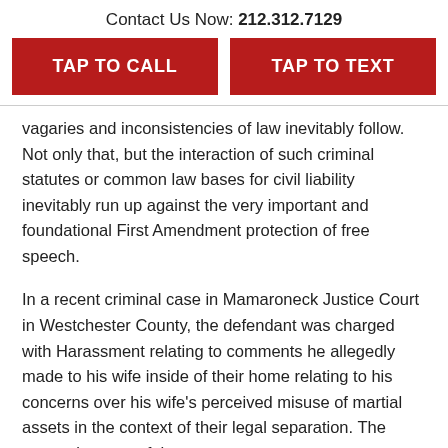Contact Us Now: 212.312.7129
TAP TO CALL
TAP TO TEXT
vagaries and inconsistencies of law inevitably follow. Not only that, but the interaction of such criminal statutes or common law bases for civil liability inevitably run up against the very important and foundational First Amendment protection of free speech.
In a recent criminal case in Mamaroneck Justice Court in Westchester County, the defendant was charged with Harassment relating to comments he allegedly made to his wife inside of their home relating to his concerns over his wife's perceived misuse of martial assets in the context of their legal separation. The unusual aspect of the